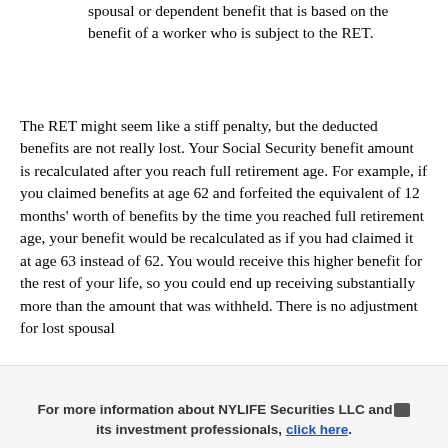spousal or dependent benefit that is based on the benefit of a worker who is subject to the RET.
The RET might seem like a stiff penalty, but the deducted benefits are not really lost. Your Social Security benefit amount is recalculated after you reach full retirement age. For example, if you claimed benefits at age 62 and forfeited the equivalent of 12 months' worth of benefits by the time you reached full retirement age, your benefit would be recalculated as if you had claimed it at age 63 instead of 62. You would receive this higher benefit for the rest of your life, so you could end up receiving substantially more than the amount that was withheld. There is no adjustment for lost spousal
For more information about NYLIFE Securities LLC and its investment professionals, click here.